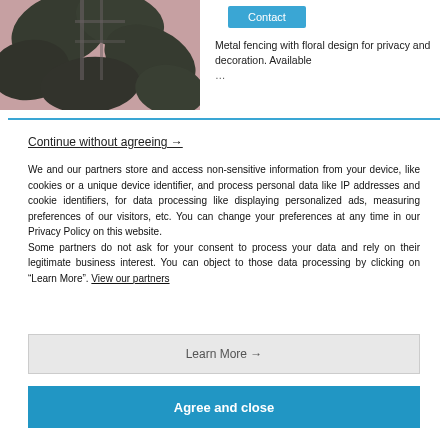[Figure (photo): Photo of metal fencing with floral/leaf design against a pink wall with greenery]
Contact
Metal fencing with floral design for privacy and decoration. Available...
Continue without agreeing →
We and our partners store and access non-sensitive information from your device, like cookies or a unique device identifier, and process personal data like IP addresses and cookie identifiers, for data processing like displaying personalized ads, measuring preferences of our visitors, etc. You can change your preferences at any time in our Privacy Policy on this website.
Some partners do not ask for your consent to process your data and rely on their legitimate business interest. You can object to those data processing by clicking on “Learn More”. View our partners
Learn More →
Agree and close